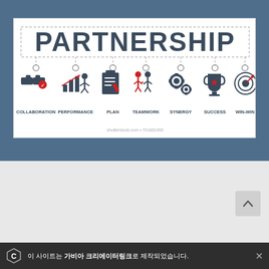[Figure (infographic): Partnership infographic banner on white background. Title 'PARTNERSHIP' in large bold dark gray letters. Seven icons below connected by dashed lines with circles: COLLABORATION (handshake icon), PERFORMANCE (bar chart with arrow, red), PLAN (clipboard with pencil, red), TEAMWORK (two figures, red), SYNERGY (gears), SUCCESS (trophy with star, red), WIN-WIN (target/dartboard). Watermark text: shutterstock.com • 761802450]
[Figure (illustration): Scroll-to-top button, gray rounded square with upward chevron arrow]
이 사이트는 가비아 크리에이터링크로 제작되었습니다.